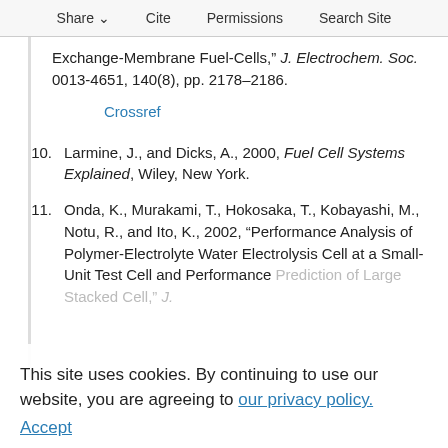Share  Cite  Permissions  Search Site
Exchange-Membrane Fuel-Cells," J. Electrochem. Soc. 0013-4651, 140(8), pp. 2178–2186.
Crossref
10. Larmine, J., and Dicks, A., 2000, Fuel Cell Systems Explained, Wiley, New York.
11. Onda, K., Murakami, T., Hokosaka, T., Kobayashi, M., Notu, R., and Ito, K., 2002, "Performance Analysis of Polymer-Electrolyte Water Electrolysis Cell at a Small-Unit Test Cell and Performance Prediction of Large Stacked Cell," J. Electrochem. Soc. 0013-4651, 149(8), pp. Crossref
This site uses cookies. By continuing to use our website, you are agreeing to our privacy policy. Accept